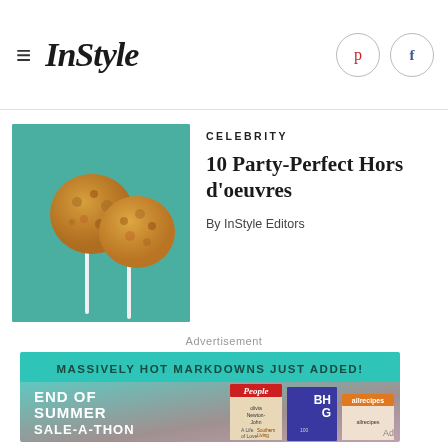InStyle
CELEBRITY
10 Party-Perfect Hors d'oeuvres
By InStyle Editors
[Figure (photo): Food photo showing two round golden-brown hors d'oeuvres on sticks against a teal background]
Advertisement
[Figure (infographic): Advertisement banner: MASSIVELY HOT MARKDOWNS JUST ADDED! END OF SUMMER SALE-A-THON with magazine covers for People, BHG, Southern Living, allrecipes]